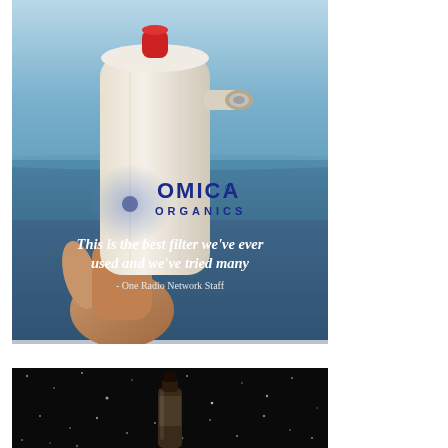[Figure (photo): Advertisement for Omica Organics water filter. A hand holds a white cylindrical water filter against a beach/ocean background. The Omica Organics logo (blue circle with 'O' and blue text) is overlaid on the filter. White italic text reads: 'This is the best filter we've ever used and we've tried many' with attribution '- One Radio Network Staff' below.]
[Figure (photo): Partial advertisement showing a dark glittery black background with a small dark dropper bottle visible at the bottom center, partially cropped.]